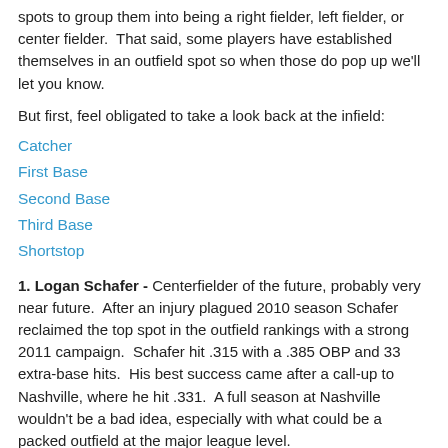spots to group them into being a right fielder, left fielder, or center fielder. That said, some players have established themselves in an outfield spot so when those do pop up we'll let you know.
But first, feel obligated to take a look back at the infield:
Catcher
First Base
Second Base
Third Base
Shortstop
1. Logan Schafer - Centerfielder of the future, probably very near future. After an injury plagued 2010 season Schafer reclaimed the top spot in the outfield rankings with a strong 2011 campaign. Schafer hit .315 with a .385 OBP and 33 extra-base hits. His best success came after a call-up to Nashville, where he hit .331. A full season at Nashville wouldn't be a bad idea, especially with what could be a packed outfield at the major league level.
2. Caleb Gindl - A corner outfielder most likely, but Gindl has